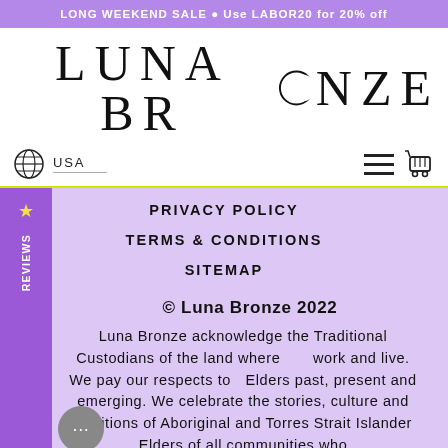LONG WEEKEND SALE 🌙 Use LABOR20 for 20% off
[Figure (logo): Luna Bronze logo with crescent moon replacing the O in BRONZE]
USA
PRIVACY POLICY
TERMS & CONDITIONS
SITEMAP
© Luna Bronze 2022
Luna Bronze acknowledge the Traditional Custodians of the land where we work and live. We pay our respects to Elders past, present and emerging. We celebrate the stories, culture and traditions of Aboriginal and Torres Strait Islander Elders of all communities who